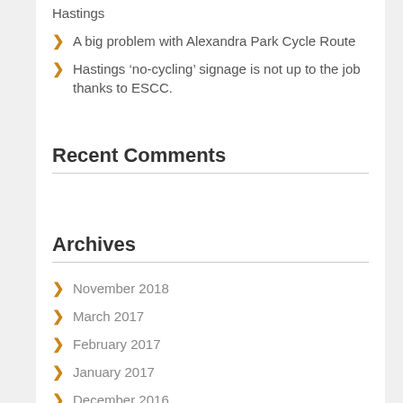Hastings
A big problem with Alexandra Park Cycle Route
Hastings ‘no-cycling’ signage is not up to the job thanks to ESCC.
Recent Comments
Archives
November 2018
March 2017
February 2017
January 2017
December 2016